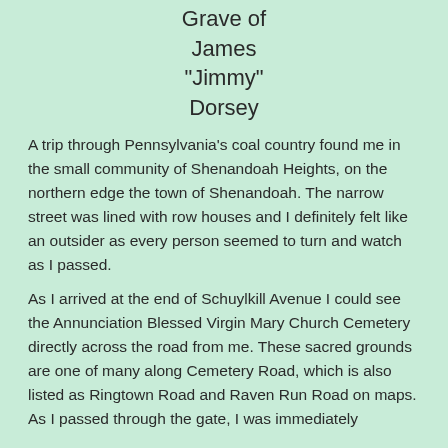Grave of James "Jimmy" Dorsey
A trip through Pennsylvania's coal country found me in the small community of Shenandoah Heights, on the northern edge the town of Shenandoah. The narrow street was lined with row houses and I definitely felt like an outsider as every person seemed to turn and watch as I passed.
As I arrived at the end of Schuylkill Avenue I could see the Annunciation Blessed Virgin Mary Church Cemetery directly across the road from me. These sacred grounds are one of many along Cemetery Road, which is also listed as Ringtown Road and Raven Run Road on maps. As I passed through the gate, I was immediately